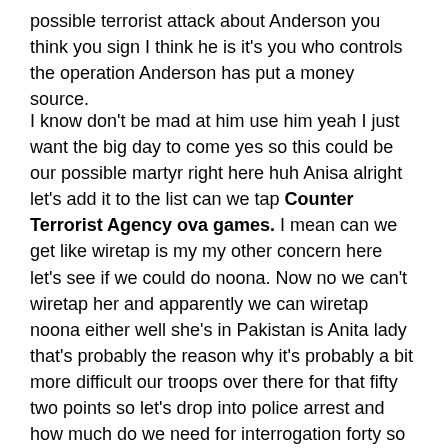possible terrorist attack about Anderson you think you sign I think he is it's you who controls the operation Anderson has put a money source.
I know don't be mad at him use him yeah I just want the big day to come yes so this could be our possible martyr right here huh Anisa alright let's add it to the list can we tap Counter Terrorist Agency ova games. I mean can we get like wiretap is my my other concern here let's see if we could do noona. Now no we can't wiretap her and apparently we can wiretap noona either well she's in Pakistan is Anita lady that's probably the reason why it's probably a bit more difficult our troops over there for that fifty two points so let's drop into police arrest and how much do we need for interrogation forty so we need eighteen more points afterwards sorry so we need to get some information here to kind of open that up I'm like surrounded by amateurs it's what's